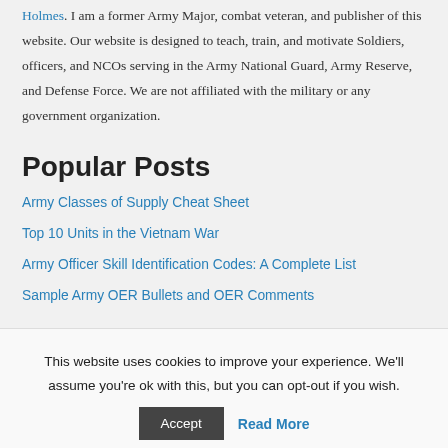Holmes. I am a former Army Major, combat veteran, and publisher of this website. Our website is designed to teach, train, and motivate Soldiers, officers, and NCOs serving in the Army National Guard, Army Reserve, and Defense Force. We are not affiliated with the military or any government organization.
Popular Posts
Army Classes of Supply Cheat Sheet
Top 10 Units in the Vietnam War
Army Officer Skill Identification Codes: A Complete List
Sample Army OER Bullets and OER Comments
This website uses cookies to improve your experience. We'll assume you're ok with this, but you can opt-out if you wish.
Accept   Read More